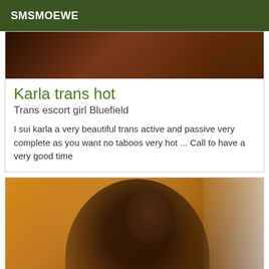SMSMOEWE
[Figure (photo): Partial photo of a person in dark clothing at the top of the card]
Karla trans hot
Trans escort girl Bluefield
I sui karla a very beautiful trans active and passive very complete as you want no taboos very hot ... Call to have a very good time
[Figure (photo): Photo of a smiling woman with dark hair wearing a black net top and silver necklace, against an orange/yellow and white curtain background]